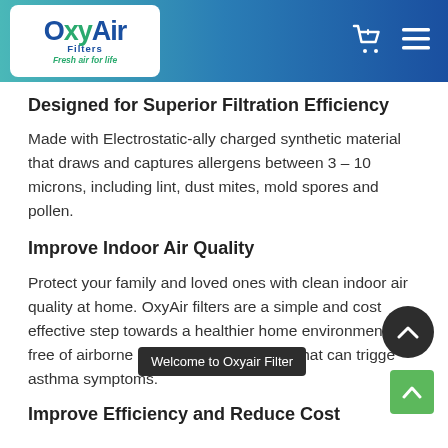OxyAir Filters — Fresh air for life
Designed for Superior Filtration Efficiency
Made with Electrostatic-ally charged synthetic material that draws and captures allergens between 3 – 10 microns, including lint, dust mites, mold spores and pollen.
Improve Indoor Air Quality
Protect your family and loved ones with clean indoor air quality at home. OxyAir filters are a simple and cost effective step towards a healthier home environment, free of airborne allergens and particles that can trigger asthma symptoms.
Improve Efficiency and Reduce Cost